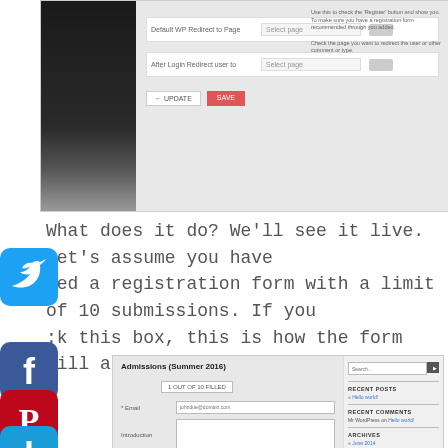[Figure (screenshot): Screenshot of a form settings panel with two rows (Default WP Redirect to Page, After Login Redirect user to), each with a Select page dropdown, and update/save buttons. Left side shows a dark sidebar.]
What does it do? We'll see it live. Let's assume you have ted a registration form with a limit of 10 submissions. If you :k this box, this is how the form will appear on the site:
[Figure (screenshot): Screenshot of a WordPress site showing an Admissions (Summer 2016) registration form with '1 OUT OF 10 FILLED' badge, fields for Email, Introduction, First Name, Last Name, Date of Birth, and PREV/SUBMIT buttons. Sidebar shows Recent Posts, Recent Comments, Archives, Categories sections.]